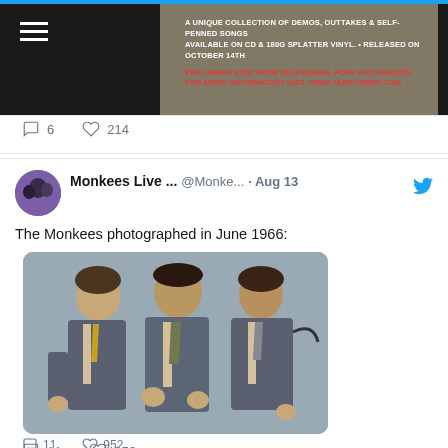[Figure (screenshot): Top portion of a tweet showing a dark album promotional banner with text about a CD release, with a hamburger menu icon and partial album image.]
6   214
[Figure (screenshot): Tweet from Monkees Live ... @Monke... · Aug 13 reading: The Monkees photographed in June 1966: followed by a vintage photo of three members of The Monkees in suits with instruments.]
Monkees Live ...  @Monke...  · Aug 13
The Monkees photographed in June 1966:
[Figure (photo): Vintage photograph of three Monkees members in suits holding instruments/props against a grey background, June 1966.]
11   952
Monkees Live Almanac Retweeted
Micky D...  @TheMickyD...  Aug 12